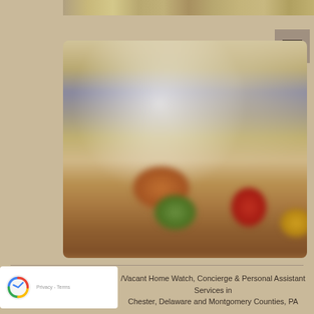[Figure (photo): Top horizontal banner strip showing a textured stone or marble surface, partially visible at top of page]
[Figure (other): Hamburger/menu icon button with three horizontal lines on a gray-brown background, positioned top right]
[Figure (photo): Blurred kitchen scene with colorful fruits and vegetables on a counter, including green, red, yellow and orange items. Image has rounded corners.]
/Vacant Home Watch, Concierge & Personal Assistant Services in Chester, Delaware and Montgomery Counties, PA